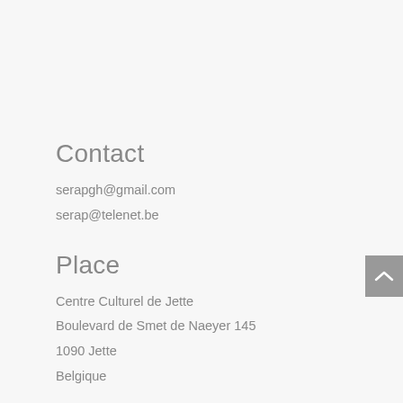Contact
serapgh@gmail.com
serap@telenet.be
Place
Centre Culturel de Jette
Boulevard de Smet de Naeyer 145
1090 Jette
Belgique
Sophie Besse